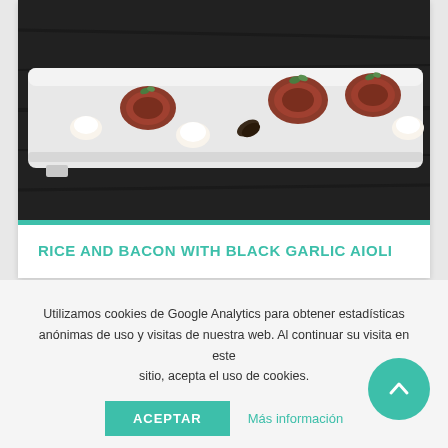[Figure (photo): A long white rectangular serving platter on a dark wooden surface with small food items: white cream dollops and rolled bacon/meat pieces with greens on top, elegantly plated as finger foods.]
RICE AND BACON WITH BLACK GARLIC AIOLI
TYPE OF DISH: FINGER FOODS
TEMPERATURE: HOT
Utilizamos cookies de Google Analytics para obtener estadísticas anónimas de uso y visitas de nuestra web. Al continuar su visita en este sitio, acepta el uso de cookies.
ACEPTAR   Más información